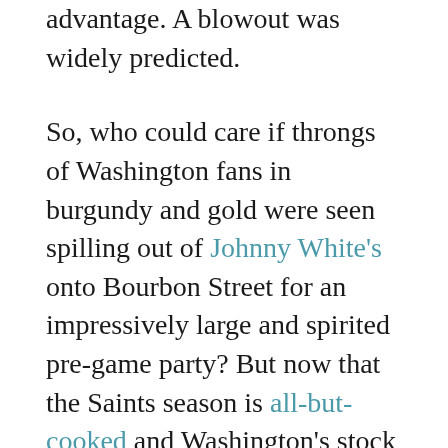advantage. A blowout was widely predicted.
So, who could care if throngs of Washington fans in burgundy and gold were seen spilling out of Johnny White's onto Bourbon Street for an impressively large and spirited pre-game party? But now that the Saints season is all-but-cooked and Washington's stock keeps rising, that Redskins rally keeps coming back to me.
We are a multicultural city, after all, and some of those cultures follow football teams besides the Saints, the Tigers and the Green Wave. So we have bars catering to other teams, places